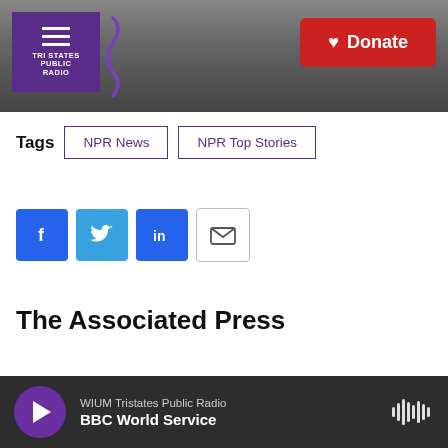[Figure (screenshot): Tri States Public Radio website header with logo, hamburger menu, and red Donate button over grayscale radio tower background]
Tags   NPR News   NPR Top Stories
[Figure (infographic): Social share buttons: Facebook (f), Twitter (bird), LinkedIn (in), and email envelope icons]
The Associated Press
WIUM Tristates Public Radio  BBC World Service